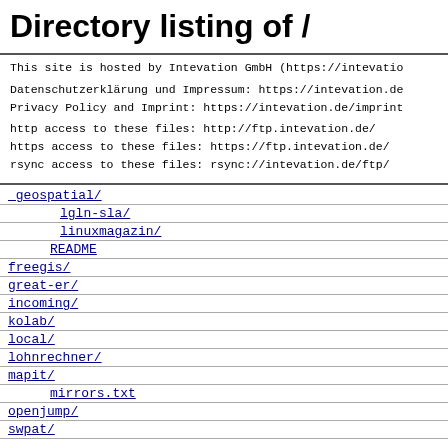Directory listing of /
This site is hosted by Intevation GmbH (https://intevatio
Datenschutzerklärung und Impressum: https://intevation.de
Privacy Policy and Imprint: https://intevation.de/imprint

http access to these files: http://ftp.intevation.de/
https access to these files: https://ftp.intevation.de/
rsync access to these files: rsync://intevation.de/ftp/
_geospatial/
lgln-sla/
linuxmagazin/
README
freegis/
great-er/
incoming/
kolab/
local/
lohnrechner/
mapit/
mirrors.txt
openjump/
swpat/